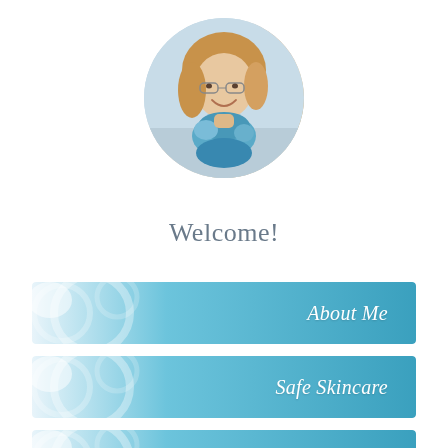[Figure (photo): Circular profile photo of a smiling woman with glasses, blonde/reddish hair, wearing a blue scarf, with a light outdoor background]
Welcome!
About Me
Safe Skincare
Disclosures